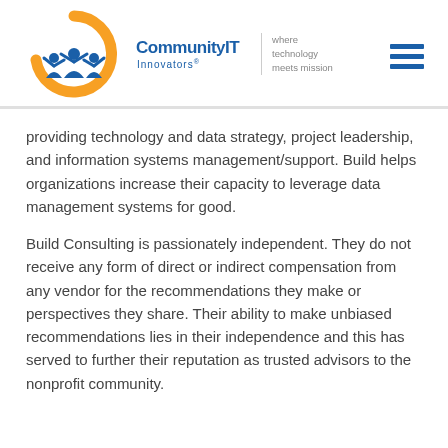[Figure (logo): Community IT Innovators logo with orange circular arc, blue human figures, text 'CommunityIT Innovators®' and tagline 'where technology meets mission']
providing technology and data strategy, project leadership, and information systems management/support. Build helps organizations increase their capacity to leverage data management systems for good.
Build Consulting is passionately independent. They do not receive any form of direct or indirect compensation from any vendor for the recommendations they make or perspectives they share. Their ability to make unbiased recommendations lies in their independence and this has served to further their reputation as trusted advisors to the nonprofit community.